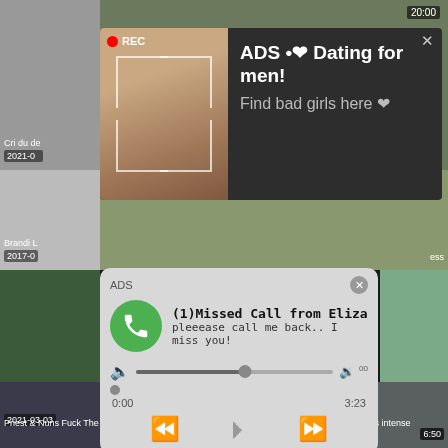[Figure (screenshot): Background pornographic video thumbnail grid with timestamps and titles, partially covered by ad popups]
[Figure (screenshot): Ad popup 1: Dark overlay with selfie photo, REC badge, text 'ADS • ❤ Dating for men! Find bad girls here ❤']
[Figure (screenshot): Ad popup 2: Phone notification style ad showing green phone icon, '(1)Missed Call from Eliza', 'pleeease call me back.. I miss you!', audio player controls, time 0:00 to 3:23]
2021-02
Cri du de
20:00
2017-0
Brandi L
7:20
ess
ADS • ❤ Dating for men!
Find bad girls here ❤
ADS
(1)Missed Call from Eliza
pleeease call me back.. I miss you!
0:00
3:23
2021-03-03
9:51
Priest & Nuns Fuck The Demon Out Of
2021-02-16
6:50
young Italian couple has intense